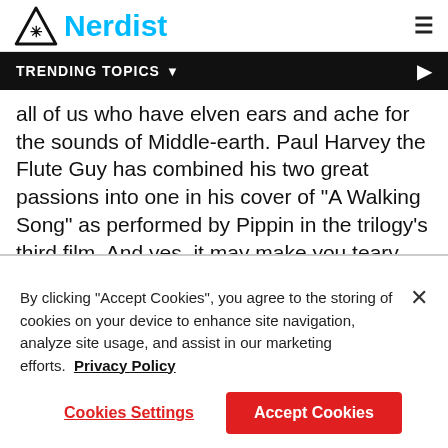Nerdist
TRENDING TOPICS
all of us who have elven ears and ache for the sounds of Middle-earth. Paul Harvey the Flute Guy has combined his two great passions into one in his cover of "A Walking Song" as performed by Pippin in the trilogy's third film. And yes, it may make you teary eyed.
[Figure (screenshot): YouTube video embed showing 'Home is behind (vocal and flute) #L...' with a circular user thumbnail on dark background]
By clicking "Accept Cookies", you agree to the storing of cookies on your device to enhance site navigation, analyze site usage, and assist in our marketing efforts.  Privacy Policy
Cookies Settings  |  Accept Cookies